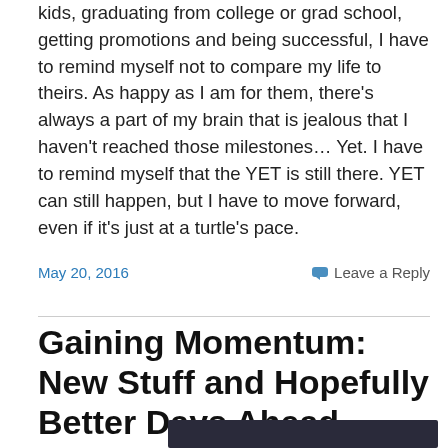kids, graduating from college or grad school, getting promotions and being successful, I have to remind myself not to compare my life to theirs. As happy as I am for them, there's always a part of my brain that is jealous that I haven't reached those milestones… Yet. I have to remind myself that the YET is still there. YET can still happen, but I have to move forward, even if it's just at a turtle's pace.
May 20, 2016
Leave a Reply
Gaining Momentum: New Stuff and Hopefully Better Days Ahead
[Figure (photo): Partial view of a photo, dark interior scene visible at the bottom of the page]